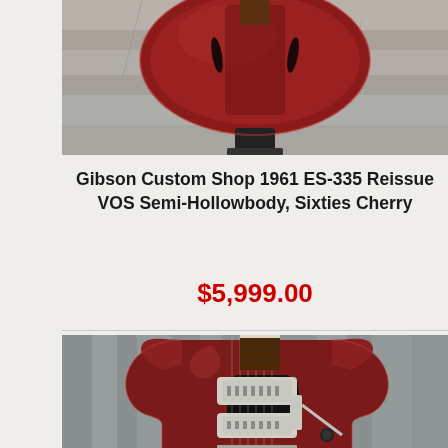[Figure (photo): Top portion of a Gibson ES-335 guitar in Sixties Cherry finish, showing the body with f-holes and a guitar stand clip against a stone/concrete wall background]
Gibson Custom Shop 1961 ES-335 Reissue VOS Semi-Hollowbody, Sixties Cherry
$5,999.00
[Figure (photo): Gibson SG style electric guitar in cherry red finish with black pickguard, two humbucking pickups, and a vibrato/tremolo arm, shown against a rustic wood wall background]